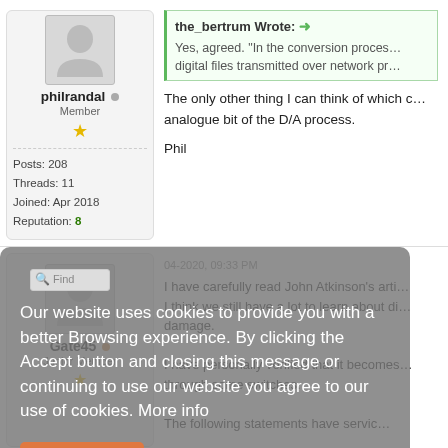[Figure (screenshot): Forum post screenshot showing user philrandal's profile panel on left with avatar, member status, gold star, stats (Posts: 208, Threads: 11, Joined: Apr 2018, Reputation: 8). Right side shows a quoted message from the_bertrum and philrandal's reply about conversion processes and D/A process. Below is a cookie consent overlay and a second post by Gate45 (Junior Member) with text about John Atkinson's article and digital damage. An orange 'I Accept' button is visible on the overlay.]